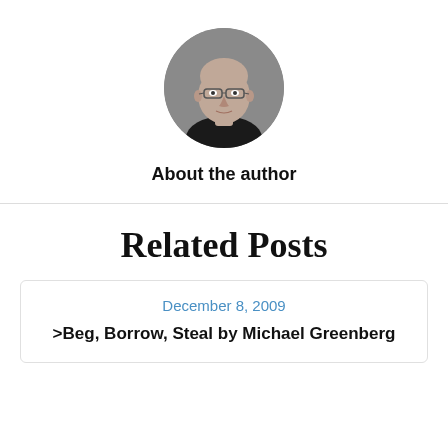[Figure (photo): Circular portrait photo of a bald man wearing glasses and a dark shirt, against a grey background.]
About the author
Related Posts
December 8, 2009
>Beg, Borrow, Steal by Michael Greenberg